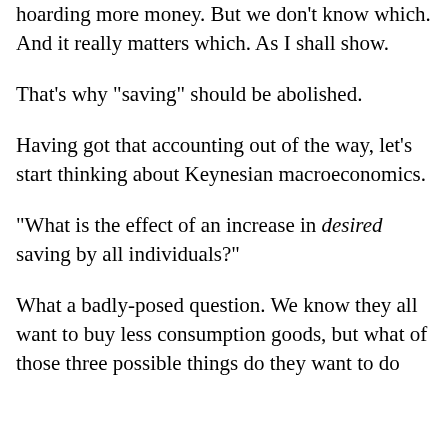hoarding more money. But we don't know which. And it really matters which. As I shall show.
That's why "saving" should be abolished.
Having got that accounting out of the way, let's start thinking about Keynesian macroeconomics.
"What is the effect of an increase in desired saving by all individuals?"
What a badly-posed question. We know they all want to buy less consumption goods, but what of those three possible things do they want to do